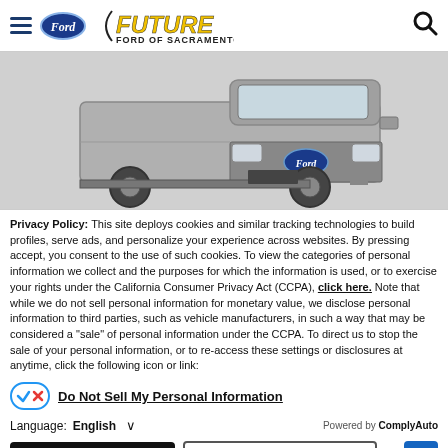Future Ford of Sacramento — Navigation header with Ford logo and search icon
[Figure (photo): Front view of a gray Ford E-Series cutaway van/chassis cab vehicle, black and white image on light gray background]
Privacy Policy: This site deploys cookies and similar tracking technologies to build profiles, serve ads, and personalize your experience across websites. By pressing accept, you consent to the use of such cookies. To view the categories of personal information we collect and the purposes for which the information is used, or to exercise your rights under the California Consumer Privacy Act (CCPA), click here. Note that while we do not sell personal information for monetary value, we disclose personal information to third parties, such as vehicle manufacturers, in such a way that may be considered a "sale" of personal information under the CCPA. To direct us to stop the sale of your personal information, or to re-access these settings or disclosures at anytime, click the following icon or link:
Do Not Sell My Personal Information
Language: English  ∨  Powered by ComplyAuto
Accept and Continue →   California Privacy Disclosures